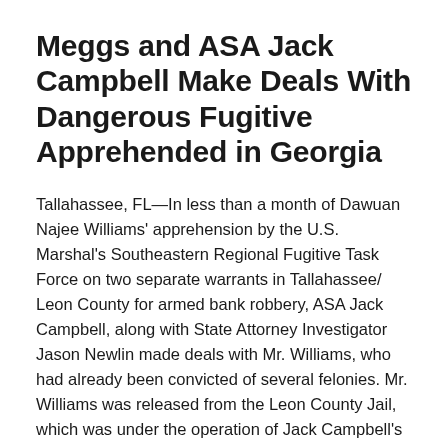Meggs and ASA Jack Campbell Make Deals With Dangerous Fugitive Apprehended in Georgia
Tallahassee, FL—In less than a month of Dawuan Najee Williams' apprehension by the U.S. Marshal's Southeastern Regional Fugitive Task Force on two separate warrants in Tallahassee/ Leon County for armed bank robbery, ASA Jack Campbell, along with State Attorney Investigator Jason Newlin made deals with Mr. Williams, who had already been convicted of several felonies. Mr. Williams was released from the Leon County Jail, which was under the operation of Jack Campbell's dad at the time, former Leon County Sheriff Larry Campbell. Upon Mr. Williams' released,